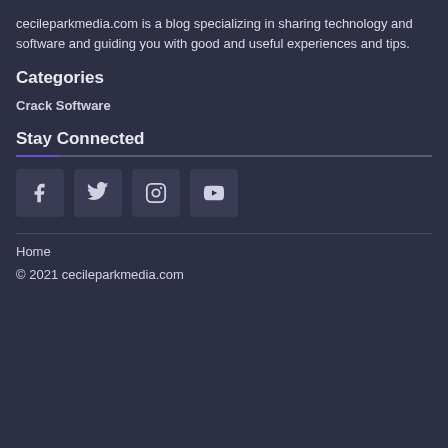cecileparkmedia.com is a blog specializing in sharing technology and software and guiding you with good and useful experiences and tips.
Categories
Crack Software
Stay Connected
[Figure (infographic): Social media icons: Facebook, Twitter, Instagram, YouTube]
Home
© 2021 cecileparkmedia.com